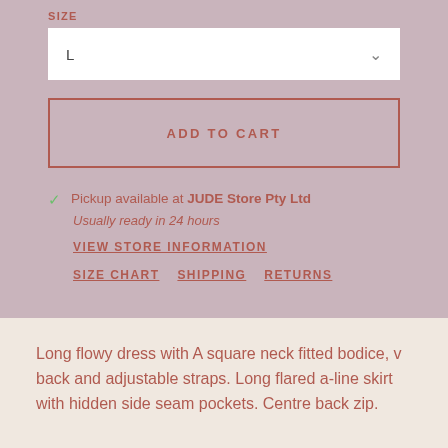SIZE
L
ADD TO CART
Pickup available at JUDE Store Pty Ltd
Usually ready in 24 hours
VIEW STORE INFORMATION
SIZE CHART   SHIPPING   RETURNS
Long flowy dress with A square neck fitted bodice, v back and adjustable straps. Long flared a-line skirt with hidden side seam pockets. Centre back zip.